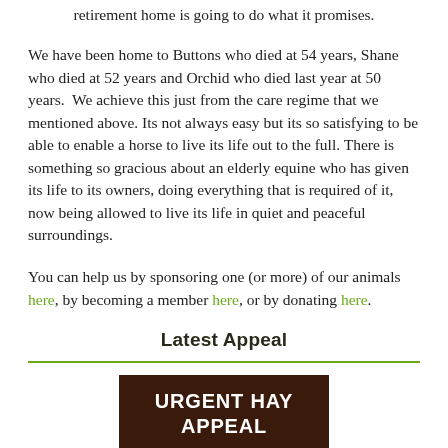retirement home is going to do what it promises.
We have been home to Buttons who died at 54 years, Shane who died at 52 years and Orchid who died last year at 50 years.  We achieve this just from the care regime that we mentioned above. Its not always easy but its so satisfying to be able to enable a horse to live its life out to the full. There is something so gracious about an elderly equine who has given its life to its owners, doing everything that is required of it, now being allowed to live its life in quiet and peaceful surroundings.
You can help us by sponsoring one (or more) of our animals here, by becoming a member here, or by donating here.
Latest Appeal
[Figure (other): Dark brown box with white bold text reading URGENT HAY APPEAL]